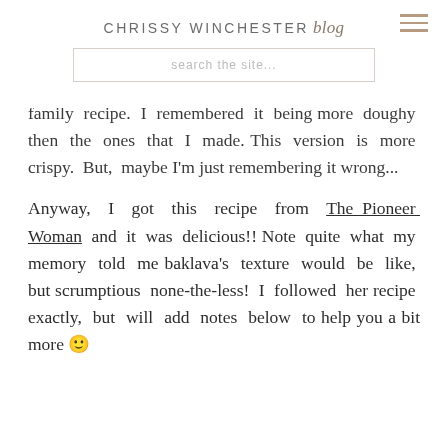CHRISSY WINCHESTER blog
family recipe. I remembered it being more doughy then the ones that I made. This version is more crispy. But, maybe I'm just remembering it wrong...
Anyway, I got this recipe from The Pioneer Woman and it was delicious!! Note quite what my memory told me baklava's texture would be like, but scrumptious none-the-less! I followed her recipe exactly, but will add notes below to help guide you a bit more 🙂